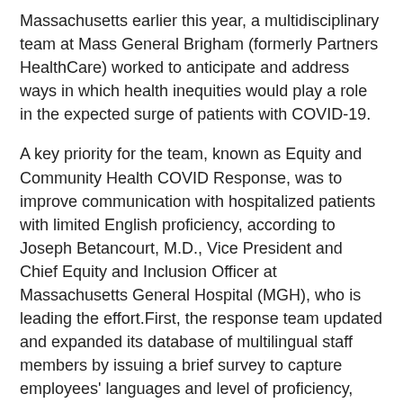Massachusetts earlier this year, a multidisciplinary team at Mass General Brigham (formerly Partners HealthCare) worked to anticipate and address ways in which health inequities would play a role in the expected surge of patients with COVID-19.
A key priority for the team, known as Equity and Community Health COVID Response, was to improve communication with hospitalized patients with limited English proficiency, according to Joseph Betancourt, M.D., Vice President and Chief Equity and Inclusion Officer at Massachusetts General Hospital (MGH), who is leading the effort.First, the response team updated and expanded its database of multilingual staff members by issuing a brief survey to capture employees' languages and level of proficiency, including whether they are certified as Qualified Bilingual Staff. The survey focused on doctors, nurses, researchers and front-line staff. MGH alone was able to register